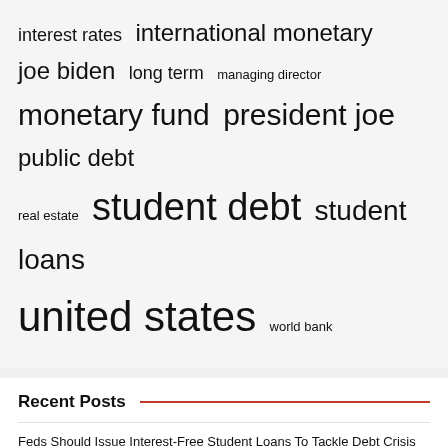[Figure (infographic): Tag cloud with finance/debt-related terms in varying font sizes: interest rates, international monetary, joe biden, long term, managing director, monetary fund, president joe, public debt, real estate, student debt, student loans, united states, world bank]
Recent Posts
Feds Should Issue Interest-Free Student Loans To Tackle Debt Crisis
New Data Points on the Growing Debt Crisis for SF Small Businesses
Zambia cancels $1.6 billion in Chinese loans to avert debt crisis
Want to solve the student debt crisis? Restructure interest rates